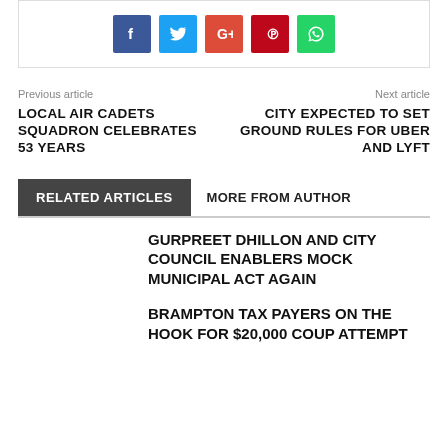[Figure (other): Social share buttons: Facebook (blue), Twitter (cyan), Google+ (orange-red), Pinterest (dark red), WhatsApp (green)]
Previous article
Next article
LOCAL AIR CADETS SQUADRON CELEBRATES 53 YEARS
CITY EXPECTED TO SET GROUND RULES FOR UBER AND LYFT
RELATED ARTICLES
MORE FROM AUTHOR
GURPREET DHILLON AND CITY COUNCIL ENABLERS MOCK MUNICIPAL ACT AGAIN
BRAMPTON TAX PAYERS ON THE HOOK FOR $20,000 COUP ATTEMPT